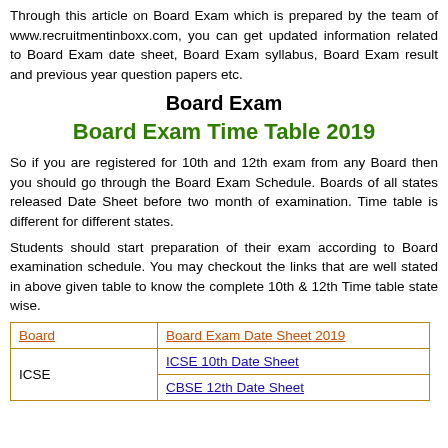Through this article on Board Exam which is prepared by the team of www.recruitmentinboxx.com, you can get updated information related to Board Exam date sheet, Board Exam syllabus, Board Exam result and previous year question papers etc.
Board Exam
Board Exam Time Table 2019
So if you are registered for 10th and 12th exam from any Board then you should go through the Board Exam Schedule. Boards of all states released Date Sheet before two month of examination. Time table is different for different states.
Students should start preparation of their exam according to Board examination schedule. You may checkout the links that are well stated in above given table to know the complete 10th & 12th Time table state wise.
| Board | Board Exam Date Sheet 2019 |
| --- | --- |
| ICSE | ICSE 10th Date Sheet |
| ICSE | CBSE 12th Date Sheet |